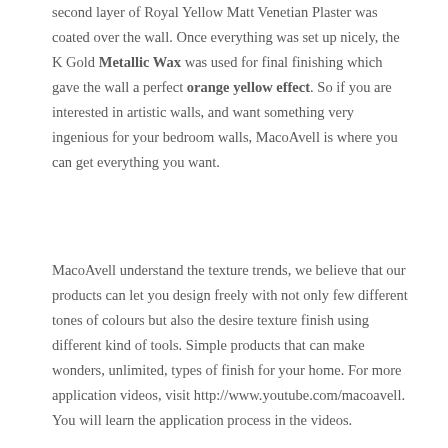second layer of Royal Yellow Matt Venetian Plaster was coated over the wall. Once everything was set up nicely, the K Gold Metallic Wax was used for final finishing which gave the wall a perfect orange yellow effect. So if you are interested in artistic walls, and want something very ingenious for your bedroom walls, MacoAvell is where you can get everything you want.
MacoAvell understand the texture trends, we believe that our products can let you design freely with not only few different tones of colours but also the desire texture finish using different kind of tools. Simple products that can make wonders, unlimited, types of finish for your home. For more application videos, visit http://www.youtube.com/macoavell. You will learn the application process in the videos.